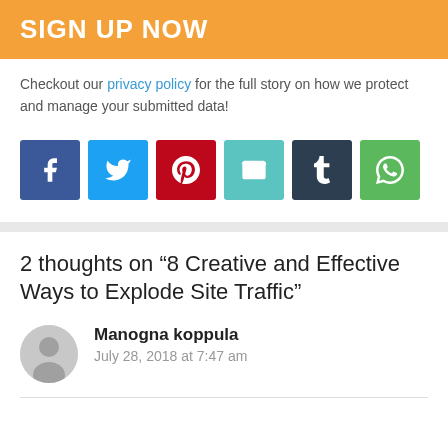SIGN UP NOW
Checkout our privacy policy for the full story on how we protect and manage your submitted data!
[Figure (other): Row of social share buttons: Facebook (blue), Twitter (light blue), Pinterest (red), Email (teal), Tumblr (dark navy), WhatsApp (green)]
2 thoughts on “8 Creative and Effective Ways to Explode Site Traffic”
Manogna koppula
July 28, 2018 at 7:47 am